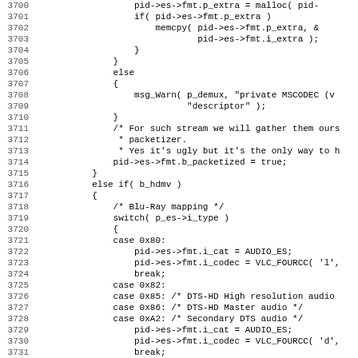[Figure (other): Source code listing in C, lines 3700-3731, showing VLC media player demuxer code for ES format handling including Blu-Ray HDMV mapping with switch/case for audio codecs.]